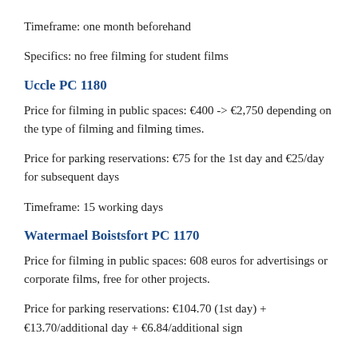Timeframe: one month beforehand
Specifics: no free filming for student films
Uccle PC 1180
Price for filming in public spaces: €400 -> €2,750 depending on the type of filming and filming times.
Price for parking reservations: €75 for the 1st day and €25/day for subsequent days
Timeframe: 15 working days
Watermael Boistsfort PC 1170
Price for filming in public spaces: 608 euros for advertisings or corporate films, free for other projects.
Price for parking reservations: €104.70 (1st day) + €13.70/additional day + €6.84/additional sign